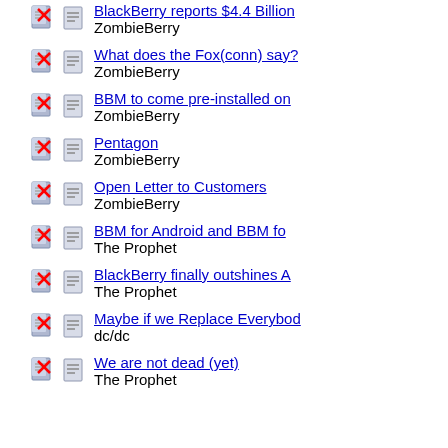BlackBerry reports $4.4 Billion
ZombieBerry
What does the Fox(conn) say?
ZombieBerry
BBM to come pre-installed on
ZombieBerry
Pentagon
ZombieBerry
Open Letter to Customers
ZombieBerry
BBM for Android and BBM fo
The Prophet
BlackBerry finally outshines A
The Prophet
Maybe if we Replace Everybod
dc/dc
We are not dead (yet)
The Prophet